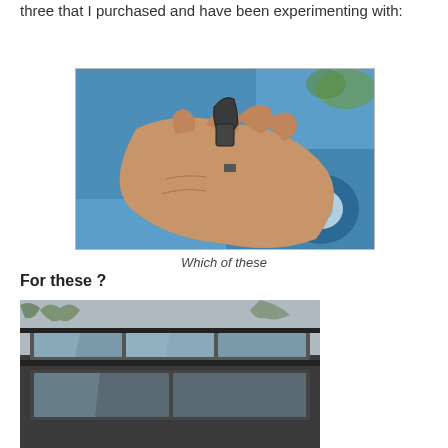three that I purchased and have been experimenting with:
[Figure (photo): A hand holding a rolled/bent rubber or foam weatherstripping seal piece, with blue tarp and blue tape roll visible in background]
Which of these
For these ?
[Figure (photo): Exterior view of a vehicle or building showing dark window or door trim/weatherstripping frames]